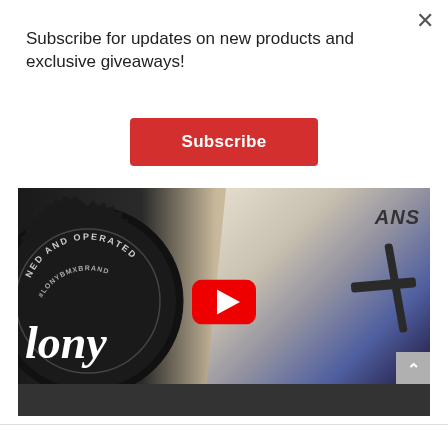Subscribe for updates on new products and exclusive giveaways!
Subscribe
[Figure (screenshot): YouTube embedded video thumbnail showing a BMX rider with a Colony BMX brand logo (gear/sprocket circle with 'lony' script text) on the left, and a person riding a BMX bike on the right with a white shirt. A red YouTube play button is centered on the image.]
×